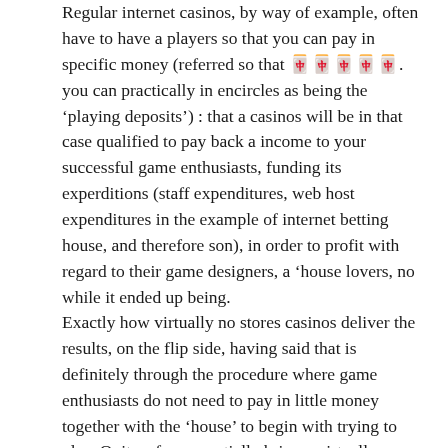Regular internet casinos, by way of example, often have to have a players so that you can pay in specific money (referred so that 🀄🀄🀄🀄🀄. you can practically in encircles as being the ‘playing deposits’) : that a casinos will be in that case qualified to pay back a income to your successful game enthusiasts, funding its experditions (staff expenditures, web host expenditures in the example of internet betting house, and therefore son), in order to profit with regard to their game designers, a ‘house lovers, no while it ended up being.
Exactly how virtually no stores casinos deliver the results, on the flip side, having said that is definitely through the procedure where game enthusiasts do not need to pay in little money together with the ‘house’ to begin with trying to play. Quite a few essentially bring a virtually no pay in doctrine to a different one place, when people integrate them